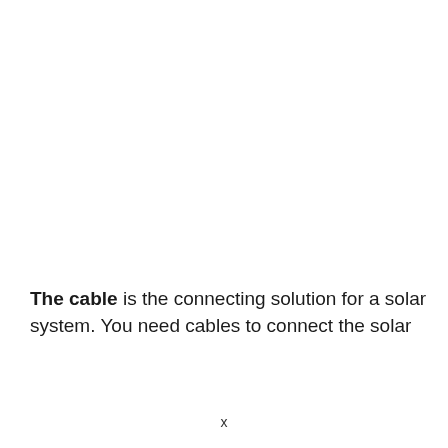The cable is the connecting solution for a solar system. You need cables to connect the solar
x